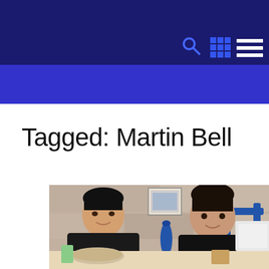Tagged: Martin Bell
Tagged: Martin Bell
[Figure (photo): Two men sitting at a restaurant table, smiling. One man with dark hair on the left wearing a black shirt, and another man with dark curly hair on the right also wearing a black shirt. Blue chairs and stone wall visible in background with a framed picture on the wall.]